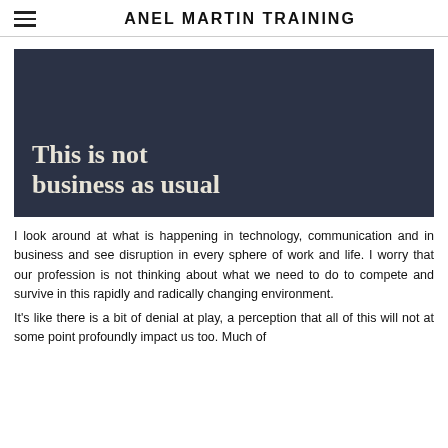ANEL MARTIN TRAINING
[Figure (illustration): Dark navy blue banner image with large bold serif text reading 'This is not business as usual' in cream/off-white color]
I look around at what is happening in technology, communication and in business and see disruption in every sphere of work and life. I worry that our profession is not thinking about what we need to do to compete and survive in this rapidly and radically changing environment.
It's like there is a bit of denial at play, a perception that all of this will not at some point profoundly impact us too. Much of